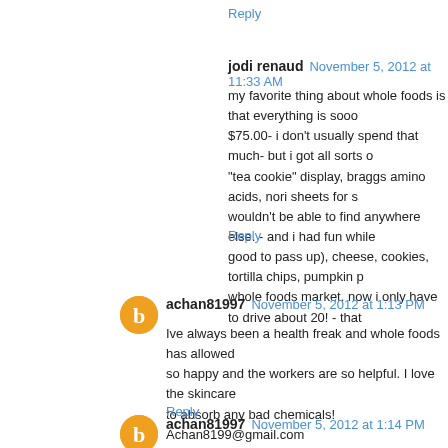Reply
jodi renaud  November 5, 2012 at 11:33 AM
my favorite thing about whole foods is that everything is sooo $75.00- i don't usually spend that much- but i got all sorts o "tea cookie" display, braggs amino acids, nori sheets for s wouldn't be able to find anywhere else. - and i had fun while good to pass up), cheese, cookies, tortilla chips, pumpkin p whole foods market. now i only have to drive about 20! - that
Reply
achan81997  November 5, 2012 at 1:13 PM
Ive always been a health freak and whole foods has allowed so happy and the workers are so helpful. I love the skincare to absorb any bad chemicals! Achan8199@gmail.com
Reply
achan81997  November 5, 2012 at 1:14 PM